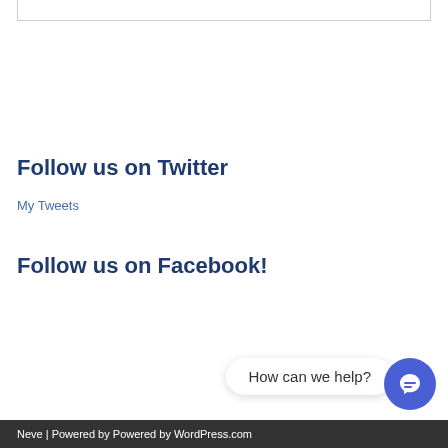Follow us on Twitter
My Tweets
Follow us on Facebook!
How can we help?
Neve | Powered by Powered by WordPress.com